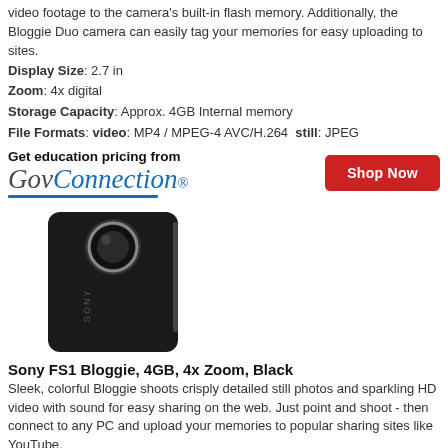video footage to the camera's built-in flash memory. Additionally, the Bloggie Duo camera can easily tag your memories for easy uploading to sites.
Display Size: 2.7 in
Zoom: 4x digital
Storage Capacity: Approx. 4GB Internal memory
File Formats: video: MP4 / MPEG-4 AVC/H.264 still: JPEG
Get education pricing from GovConnection [Shop Now]
[Figure (photo): Sony FS1 Bloggie camera, black, rectangular shape with lens at top]
Sony FS1 Bloggie, 4GB, 4x Zoom, Black
Sleek, colorful Bloggie shoots crisply detailed still photos and sparkling HD video with sound for easy sharing on the web. Just point and shoot - then connect to any PC and upload your memories to popular sharing sites like YouTube.